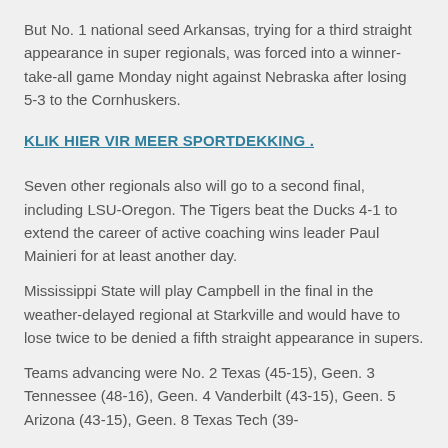But No. 1 national seed Arkansas, trying for a third straight appearance in super regionals, was forced into a winner-take-all game Monday night against Nebraska after losing 5-3 to the Cornhuskers.
KLIK HIER VIR MEER SPORTDEKKING .
Seven other regionals also will go to a second final, including LSU-Oregon. The Tigers beat the Ducks 4-1 to extend the career of active coaching wins leader Paul Mainieri for at least another day.
Mississippi State will play Campbell in the final in the weather-delayed regional at Starkville and would have to lose twice to be denied a fifth straight appearance in supers.
Teams advancing were No. 2 Texas (45-15), Geen. 3 Tennessee (48-16), Geen. 4 Vanderbilt (43-15), Geen. 5 Arizona (43-15), Geen. 8 Texas Tech (39-